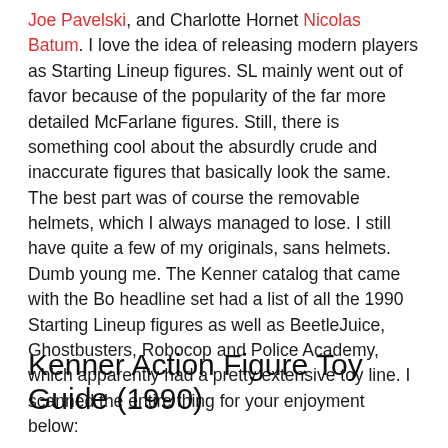Joe Pavelski, and Charlotte Hornet Nicolas Batum. I love the idea of releasing modern players as Starting Lineup figures. SL mainly went out of favor because of the popularity of the far more detailed McFarlane figures. Still, there is something cool about the absurdly crude and inaccurate figures that basically look the same. The best part was of course the removable helmets, which I always managed to lose. I still have quite a few of my originals, sans helmets. Dumb young me. The Kenner catalog that came with the Bo headline set had a list of all the 1990 Starting Lineup figures as well as BeetleJuice, Ghostbusters, Robocop and Police Academy, which apparently had a pretty extensive toy line. I scanned the entire thing for your enjoyment below:
Kenner Action Figure Toy Guide (1990)